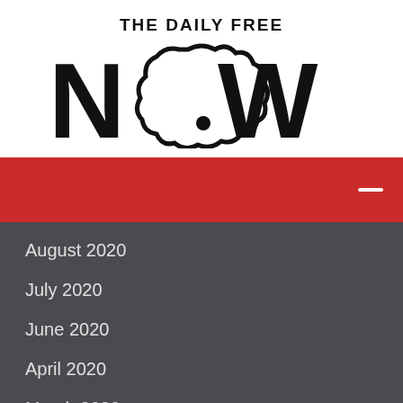[Figure (logo): The Daily Free Now logo — text 'THE DAILY FREE' above large stylized 'NOW' with a cloud/smoke shape replacing the 'O']
[Figure (other): Red navigation bar with a white minus/hamburger icon on the right]
August 2020
July 2020
June 2020
April 2020
March 2020
February 2020